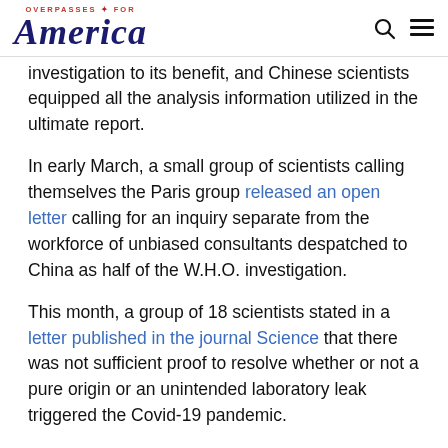OVERPASSES FOR America
investigation to its benefit, and Chinese scientists equipped all the analysis information utilized in the ultimate report.
In early March, a small group of scientists calling themselves the Paris group released an open letter calling for an inquiry separate from the workforce of unbiased consultants despatched to China as half of the W.H.O. investigation.
This month, a group of 18 scientists stated in a letter published in the journal Science that there was not sufficient proof to resolve whether or not a pure origin or an unintended laboratory leak triggered the Covid-19 pandemic.
After the findings of the joint inquiry by China and the W.H.O. have been launched in March, the director of the W.H.O., Dr.